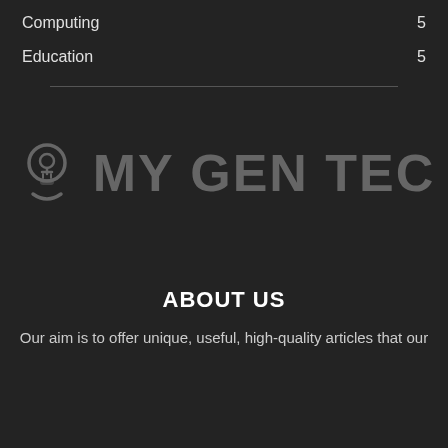Computing 5
Education 5
[Figure (logo): MY GEN TEC logo with a head/person icon on the left and bold text 'MY GEN TEC' in grey on dark background]
ABOUT US
Our aim is to offer unique, useful, high-quality articles that our